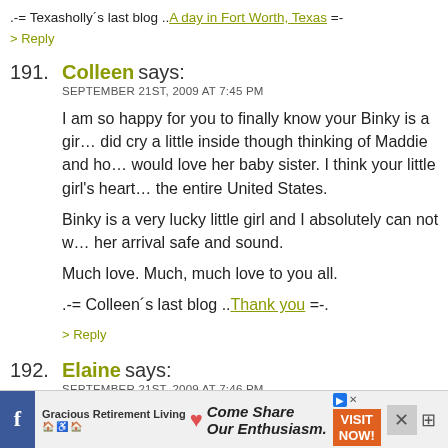.-= Texasholly´s last blog ..A day in Fort Worth, Texas =-
> Reply
191. Colleen says: SEPTEMBER 21ST, 2009 AT 7:45 PM
I am so happy for you to finally know your Binky is a girl. I did cry a little inside though thinking of Maddie and how she would love her baby sister. I think your little girl's heart is bigger than the entire United States.
Binky is a very lucky little girl and I absolutely can not wait for her arrival safe and sound.
Much love. Much, much love to you all.
.-= Colleen´s last blog ..Thank you =-.
> Reply
192. Elaine says: SEPTEMBER 21ST, 2009 AT 7:46 PM
[Figure (infographic): Advertisement banner for Gracious Retirement Living with tagline 'Come Share Our Enthusiasm.' and a Visit Now button]